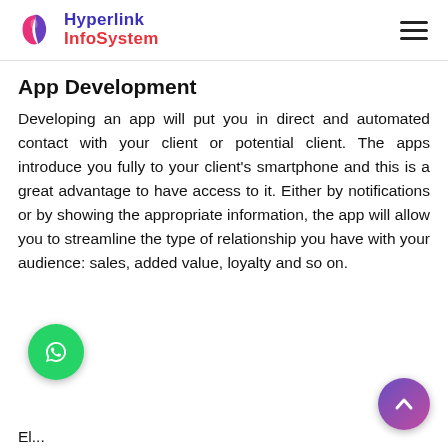Hyperlink InfoSystem
App Development
Developing an app will put you in direct and automated contact with your client or potential client. The apps introduce you fully to your client's smartphone and this is a great advantage to have access to it. Either by notifications or by showing the appropriate information, the app will allow you to streamline the type of relationship you have with your audience: sales, added value, loyalty and so on.
El...